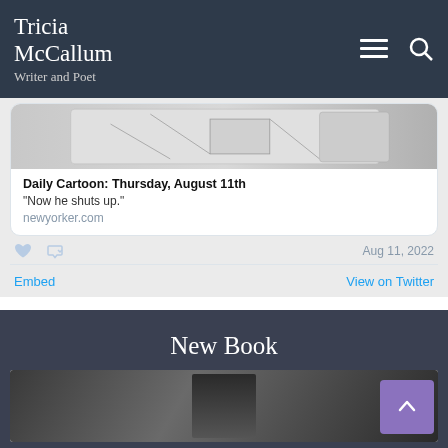Tricia McCallum
Writer and Poet
[Figure (screenshot): Thumbnail of New Yorker cartoon sketch]
Daily Cartoon: Thursday, August 11th
“Now he shuts up.”
newyorker.com
Aug 11, 2022
Embed
View on Twitter
New Book
[Figure (photo): New book cover image, dark background]